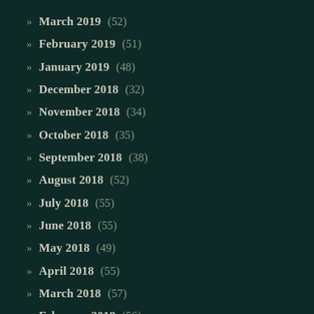March 2019 (52)
February 2019 (51)
January 2019 (48)
December 2018 (32)
November 2018 (34)
October 2018 (35)
September 2018 (38)
August 2018 (52)
July 2018 (55)
June 2018 (55)
May 2018 (49)
April 2018 (55)
March 2018 (57)
February 2018 (56)